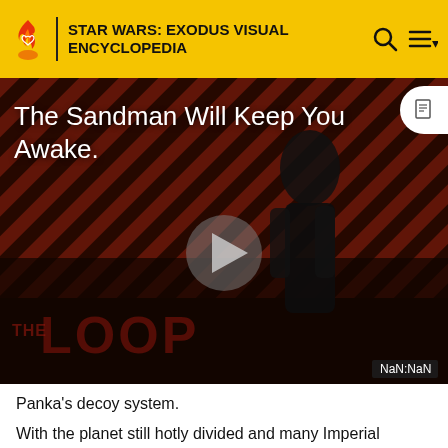STAR WARS: EXODUS VISUAL ENCYCLOPEDIA
[Figure (screenshot): Video player thumbnail showing a stylized figure in black on a diagonal red-and-black striped background. Text overlay reads 'The Sandman Will Keep You Awake.' with a play button in the center and 'THE LOOP' watermark. Timer shows NaN:NaN.]
Panka's decoy system.
With the planet still hotly divided and many Imperial loyalist showing up out of the wood work. The Queen and Allyah who had been named Chief of the New Republic